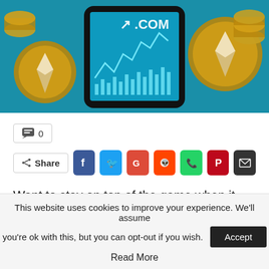[Figure (photo): Hero image showing cryptocurrency coins (Ethereum) arranged around a smartphone displaying a trading chart with upward arrow and text on a teal background]
💬 0
Share [social icons: Facebook, Twitter, Google+, Reddit, WhatsApp, Pinterest, Email]
Want to stay on top of the game when it comes to cryptocurrency trading? Have difficulty comparing the value of your crypto coin to another currency? If so, later you will require a safe, reliable converter.
Therefore, for your convenience, we have compiled
This website uses cookies to improve your experience. We'll assume you're ok with this, but you can opt-out if you wish. Accept
Read More